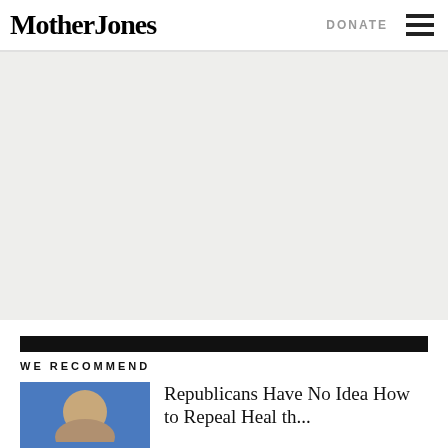Mother Jones
[Figure (other): Advertisement or placeholder gray area]
WE RECOMMEND
[Figure (photo): Thumbnail photo of a person for article preview]
Republicans Have No Idea How to Repeal Health...